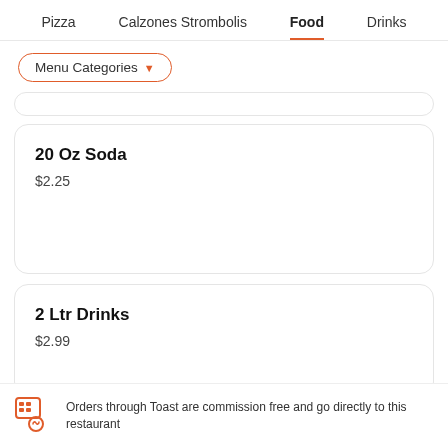Pizza   Calzones Strombolis   Food   Drinks
Menu Categories ▼
20 Oz Soda
$2.25
2 Ltr Drinks
$2.99
Orders through Toast are commission free and go directly to this restaurant